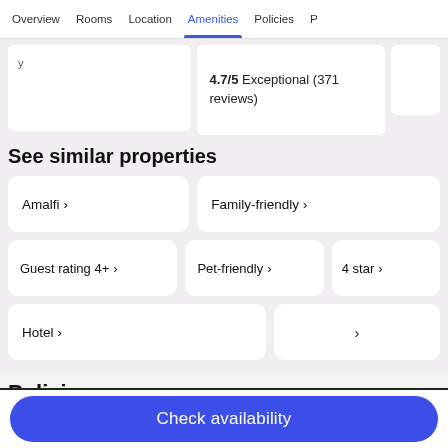Overview | Rooms | Location | Amenities | Policies
4.7/5 Exceptional (371 reviews)
See similar properties
Amalfi ›
Family-friendly ›
Guest rating 4+ ›
Pet-friendly ›
4 star ›
Hotel ›
›
Policies
Check availability